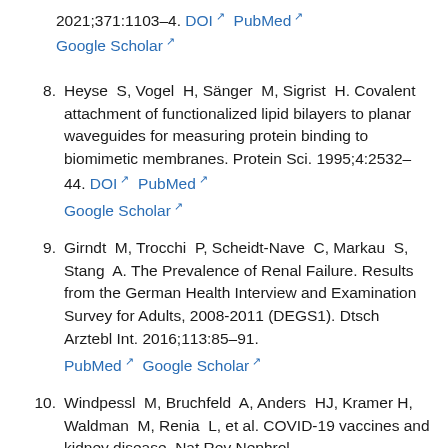2021;371:1103–4. DOI PubMed Google Scholar
8. Heyse S, Vogel H, Sänger M, Sigrist H. Covalent attachment of functionalized lipid bilayers to planar waveguides for measuring protein binding to biomimetic membranes. Protein Sci. 1995;4:2532–44. DOI PubMed Google Scholar
9. Girndt M, Trocchi P, Scheidt-Nave C, Markau S, Stang A. The Prevalence of Renal Failure. Results from the German Health Interview and Examination Survey for Adults, 2008-2011 (DEGS1). Dtsch Arztebl Int. 2016;113:85–91. PubMed Google Scholar
10. Windpessl M, Bruchfeld A, Anders HJ, Kramer H, Waldman M, Renia L, et al. COVID-19 vaccines and kidney disease. Nat Rev Nephrol